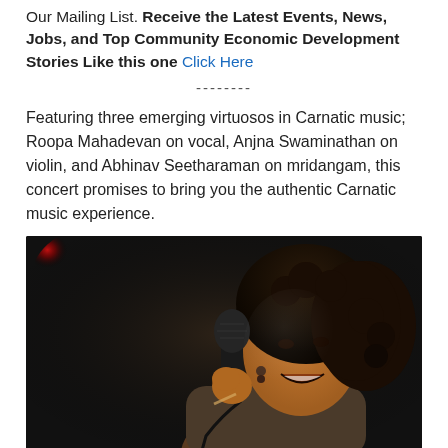Our Mailing List. Receive the Latest Events, News, Jobs, and Top Community Economic Development Stories Like this one Click Here
--------
Featuring three emerging virtuosos in Carnatic music; Roopa Mahadevan on vocal, Anjna Swaminathan on violin, and Abhinav Seetharaman on mridangam, this concert promises to bring you the authentic Carnatic music experience.
[Figure (photo): A woman with curly hair singing into a microphone on a dark stage, smiling, with a blurred red light in the background.]